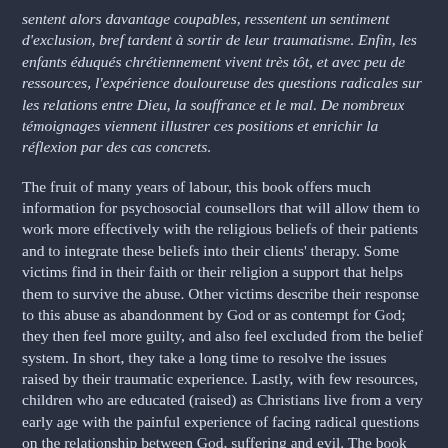sentent alors davantage coupables, ressentent un sentiment d'exclusion, bref tardent à sortir de leur traumatisme. Enfin, les enfants éduqués chrétiennement vivent très tôt, et avec peu de ressources, l'expérience douloureuse des questions radicales sur les relations entre Dieu, la souffrance et le mal. De nombreux témoignages viennent illustrer ces positions et enrichir la réflexion par des cas concrets.
The fruit of many years of labour, this book offers much information for psychosocial counsellors that will allow them to work more effectively with the religious beliefs of their patients and to integrate these beliefs into their clients' therapy. Some victims find in their faith or their religion a support that helps them to survive the abuse. Other victims describe their response to this abuse as abandonment by God or as contempt for God; they then feel more guilty, and also feel excluded from the belief system. In short, they take a long time to resolve the issues raised by their traumatic experience. Lastly, with few resources, children who are educated (raised) as Christians live from a very early age with the painful experience of facing radical questions on the relationship between God, suffering and evil. The book